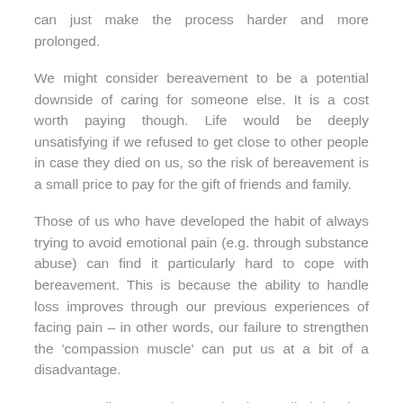can just make the process harder and more prolonged.
We might consider bereavement to be a potential downside of caring for someone else. It is a cost worth paying though. Life would be deeply unsatisfying if we refused to get close to other people in case they died on us, so the risk of bereavement is a small price to pay for the gift of friends and family.
Those of us who have developed the habit of always trying to avoid emotional pain (e.g. through substance abuse) can find it particularly hard to cope with bereavement. This is because the ability to handle loss improves through our previous experiences of facing pain – in other words, our failure to strengthen the 'compassion muscle' can put us at a bit of a disadvantage.
We pay tribute to those who have died by just allowing our grief to unfold. There is no right way to grieve. We just allow whatever emotions arise to come and go naturally – this is